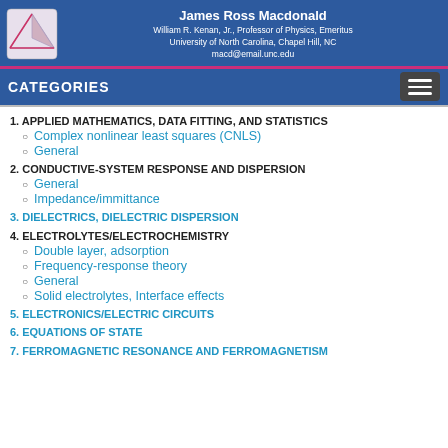James Ross Macdonald | William R. Kenan, Jr., Professor of Physics, Emeritus | University of North Carolina, Chapel Hill, NC | macd@email.unc.edu
CATEGORIES
1. APPLIED MATHEMATICS, DATA FITTING, AND STATISTICS
Complex nonlinear least squares (CNLS)
General
2. CONDUCTIVE-SYSTEM RESPONSE AND DISPERSION
General
Impedance/immittance
3. DIELECTRICS, DIELECTRIC DISPERSION
4. ELECTROLYTES/ELECTROCHEMISTRY
Double layer, adsorption
Frequency-response theory
General
Solid electrolytes, Interface effects
5. ELECTRONICS/ELECTRIC CIRCUITS
6. EQUATIONS OF STATE
7. FERROMAGNETIC RESONANCE AND FERROMAGNETISM